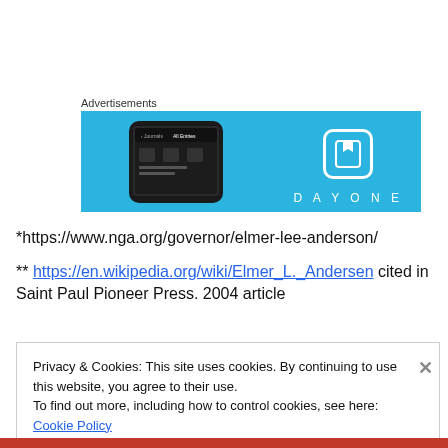Advertisements
[Figure (screenshot): Day One app advertisement banner with blue background, showing a smartphone screenshot of the app on the left and the Day One logo (book icon) with the text DAYONE on the right.]
*https://www.nga.org/governor/elmer-lee-anderson/
** https://en.wikipedia.org/wiki/Elmer_L._Andersen cited in Saint Paul Pioneer Press. 2004 article
Privacy & Cookies: This site uses cookies. By continuing to use this website, you agree to their use.
To find out more, including how to control cookies, see here: Cookie Policy
Close and accept